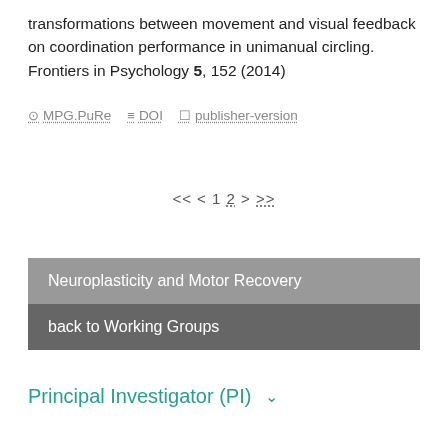transformations between movement and visual feedback on coordination performance in unimanual circling. Frontiers in Psychology 5, 152 (2014)
MPG.PuRe  DOI  publisher-version
<< < 1 2 > >>
Neuroplasticity and Motor Recovery
back to Working Groups
Principal Investigator (PI)